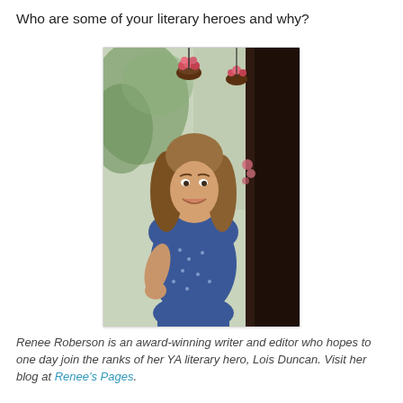Who are some of your literary heroes and why?
[Figure (photo): Portrait photo of Renee Roberson, a young woman with long blonde-brown hair, smiling, wearing a blue patterned dress, standing outdoors in front of a building with hanging flower baskets and greenery visible in the background.]
Renee Roberson is an award-winning writer and editor who hopes to one day join the ranks of her YA literary hero, Lois Duncan. Visit her blog at Renee's Pages.